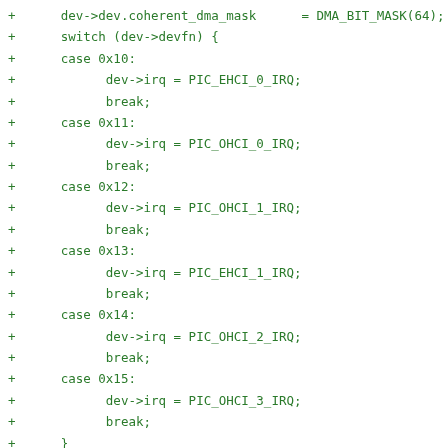+      dev->dev.coherent_dma_mask      = DMA_BIT_MASK(64);
+      switch (dev->devfn) {
+      case 0x10:
+            dev->irq = PIC_EHCI_0_IRQ;
+            break;
+      case 0x11:
+            dev->irq = PIC_OHCI_0_IRQ;
+            break;
+      case 0x12:
+            dev->irq = PIC_OHCI_1_IRQ;
+            break;
+      case 0x13:
+            dev->irq = PIC_EHCI_1_IRQ;
+            break;
+      case 0x14:
+            dev->irq = PIC_OHCI_2_IRQ;
+            break;
+      case 0x15:
+            dev->irq = PIC_OHCI_3_IRQ;
+            break;
+      }
+}
+DECLARE_PCI_FIXUP_FINAL(PCI_VENDOR_NETLOGIC, PCI_DEVICE_ID_N
+                nlm_usb_fixup_final);
+DECLARE_PCI_FIXUP_FINAL(PCI_VENDOR_NETLOGIC, PCI_DEVICE_ID_